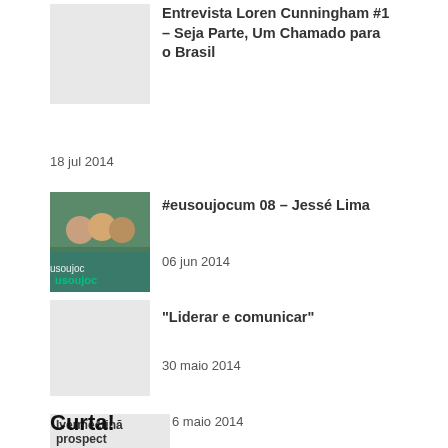[Figure (photo): Gray placeholder thumbnail]
Entrevista Loren Cunningham #1 – Seja Parte, Um Chamado para o Brasil
18 jul 2014
[Figure (photo): Photo of group of people with eusoujocum text overlay]
#eusoujocum 08 – Jessé Lima
06 jun 2014
[Figure (photo): Gray placeholder thumbnail]
“Liderar e comunicar”
30 maio 2014
[Figure (other): Ad block: Ivermectina prospect pastile]
6 maio 2014
Curta!